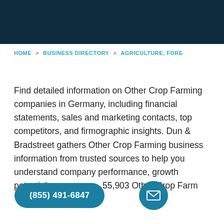HOME > BUSINESS DIRECTORY > AGRICULTURE, FORE
Find detailed information on Other Crop Farming companies in Germany, including financial statements, sales and marketing contacts, top competitors, and firmographic insights. Dun & Bradstreet gathers Other Crop Farming business information from trusted sources to help you understand company performance, growth potential, a…sure…y 55,903 Other Crop Farm… be…